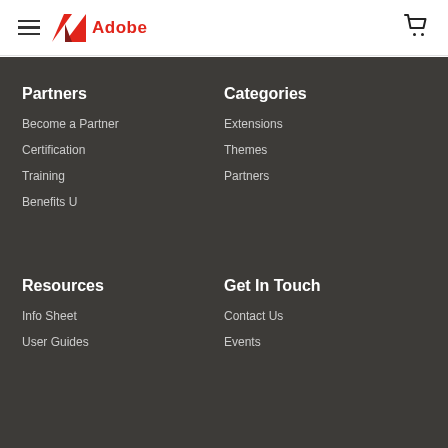Adobe
Partners
Become a Partner
Certification
Training
Benefits U
Categories
Extensions
Themes
Partners
Resources
Info Sheet
User Guides
Get In Touch
Contact Us
Events